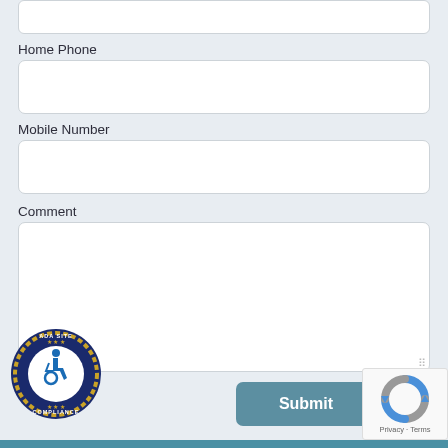Home Phone
Mobile Number
Comment
[Figure (logo): ADA Site Compliance badge — circular dark blue badge with gold rope border, wheelchair accessibility icon in center, text reads ADA SITE COMPLIANCE around the border with stars]
[Figure (logo): reCAPTCHA widget showing the reCAPTCHA logo (blue and grey arrows) with Privacy and Terms links below]
Submit